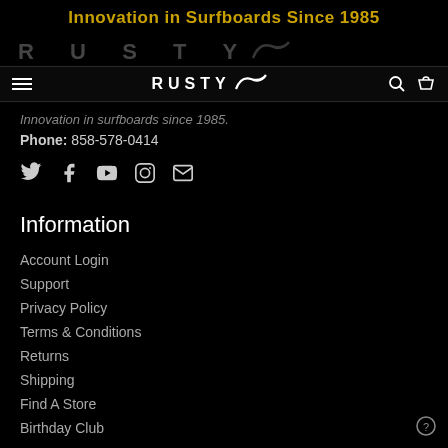Innovation in Surfboards Since 1985
[Figure (logo): Rusty surfboards logo with brand name in large spaced letters and surfer icon, shown twice - faded background version and nav bar version with search and cart icons]
Innovation in surfboards since 1985.
Phone: 858-578-0414
[Figure (infographic): Social media icons: Twitter, Facebook, YouTube, Instagram, Email]
Information
Account Login
Support
Privacy Policy
Terms & Conditions
Returns
Shipping
Find A Store
Birthday Club